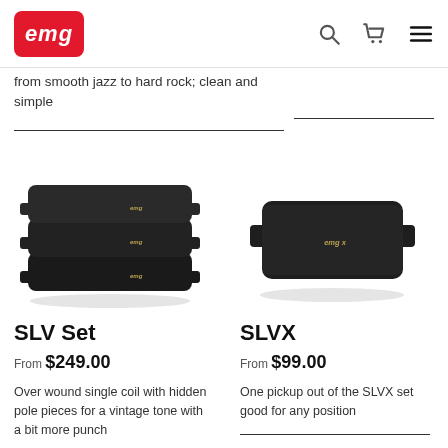EMG Pickups
from smooth jazz to hard rock; clean and simple
[Figure (photo): Three stacked EMG SLV single-coil pickups in black]
[Figure (photo): Single EMG SLVX pickup in black]
SLV Set
From $249.00
Over wound single coil with hidden pole pieces for a vintage tone with a bit more punch
SLVX
From $99.00
One pickup out of the SLVX set good for any position